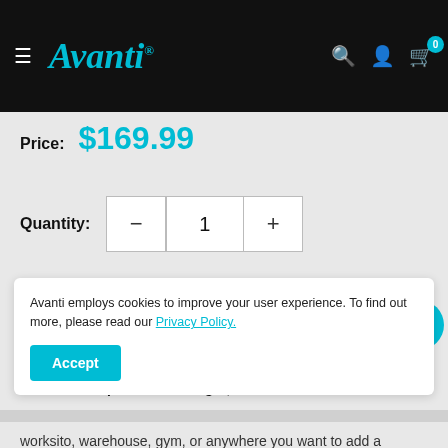Avanti — navigation bar with logo, search, account, and cart icons
Price: $169.99
Quantity: 1
Sold out
This Item Ships via LTL Freight, Learn More
Avanti employs cookies to improve your user experience. To find out more, please read our Privacy Policy.
worksito warehouse gym or anywhere you want to add a